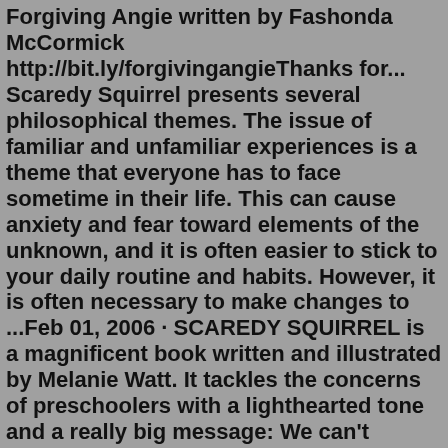Forgiving Angie written by Fashonda McCormick http://bit.ly/forgivingangieThanks for... Scaredy Squirrel presents several philosophical themes. The issue of familiar and unfamiliar experiences is a theme that everyone has to face sometime in their life. This can cause anxiety and fear toward elements of the unknown, and it is often easier to stick to your daily routine and habits. However, it is often necessary to make changes to ...Feb 01, 2006 · SCAREDY SQUIRREL is a magnificent book written and illustrated by Melanie Watt. It tackles the concerns of preschoolers with a lighthearted tone and a really big message: We can't always control our surroundings, but sometimes that's a good thing. The book depicts Scaredy's life as a humorous series of schedules, contingency plans, and ... Scaredy Squirrel never leaves his nut tree. It's way too dangerous out there. He could encounter tarantulas, green Martians or killer bees. But in his tree, every day is the same and if danger comes along, he's well-prepared. Scaredy Squirrel's emergency kit includes